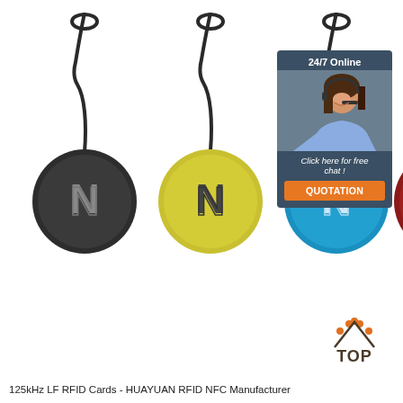[Figure (photo): Four NFC RFID key fob tags with lanyards in black, yellow/green, blue, and red colors, each showing the NFC logo (N symbol). Displayed on a white background.]
[Figure (photo): Customer service chat widget overlay in dark blue/grey: shows '24/7 Online' text, a smiling female customer service agent with headset, 'Click here for free chat!' text, and an orange QUOTATION button.]
[Figure (logo): TOP logo with orange dots forming an arc above the word TOP in dark grey/brown letters.]
125kHz LF RFID Cards - HUAYUAN RFID NFC Manufacturer